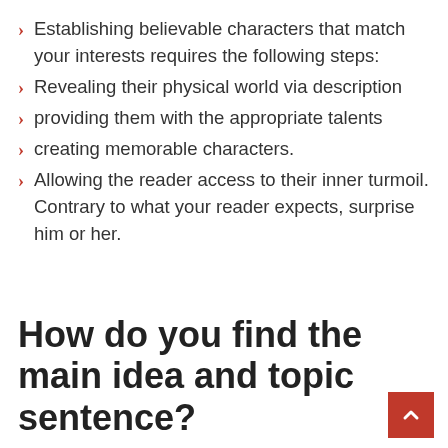Establishing believable characters that match your interests requires the following steps:
Revealing their physical world via description
providing them with the appropriate talents
creating memorable characters.
Allowing the reader access to their inner turmoil. Contrary to what your reader expects, surprise him or her.
How do you find the main idea and topic sentence?